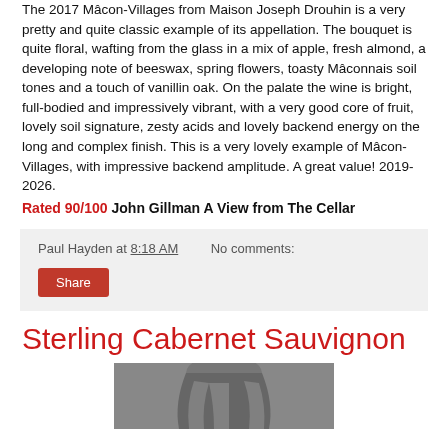The 2017 Mâcon-Villages from Maison Joseph Drouhin is a very pretty and quite classic example of its appellation. The bouquet is quite floral, wafting from the glass in a mix of apple, fresh almond, a developing note of beeswax, spring flowers, toasty Mâconnais soil tones and a touch of vanillin oak. On the palate the wine is bright, full-bodied and impressively vibrant, with a very good core of fruit, lovely soil signature, zesty acids and lovely backend energy on the long and complex finish. This is a very lovely example of Mâcon-Villages, with impressive backend amplitude. A great value! 2019-2026.
Rated 90/100 John Gillman A View from The Cellar
Paul Hayden at 8:18 AM   No comments:
Share
Sterling Cabernet Sauvignon
[Figure (photo): Partial wine bottle image at bottom of page]